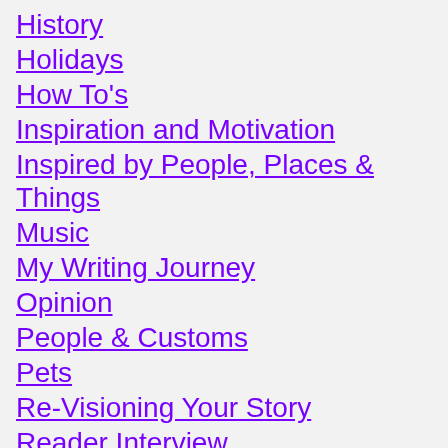History
Holidays
How To's
Inspiration and Motivation
Inspired by People, Places & Things
Music
My Writing Journey
Opinion
People & Customs
Pets
Re-Visioning Your Story
Reader Interview
Reading
Science Feature